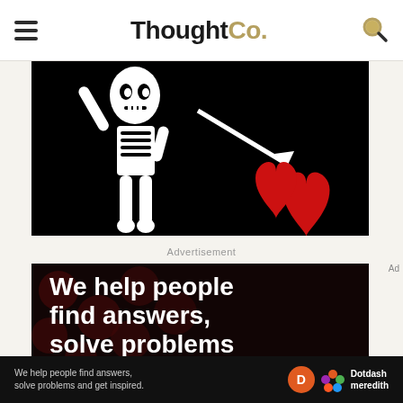ThoughtCo.
[Figure (illustration): Black background with white skeleton figure on left side raising one arm, with a diagonal arrow pointing to a red heart on the right side — resembling a pirate flag design.]
Advertisement
[Figure (photo): Dark advertisement banner with dark red circular dot pattern background. Bold white text reads: We help people find answers, solve problems]
[Figure (infographic): Bottom dark bar with text: We help people find answers, solve problems and get inspired. Dotdash Meredith logo with orange D circle and colorful flower icon.]